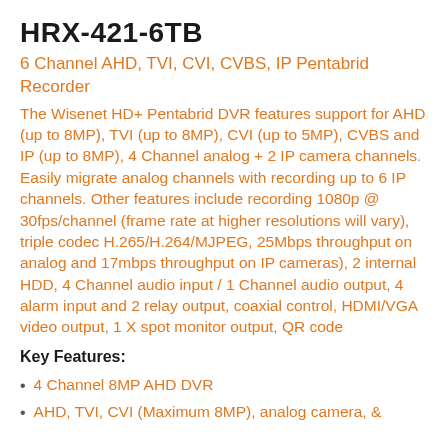HRX-421-6TB
6 Channel AHD, TVI, CVI, CVBS, IP Pentabrid Recorder
The Wisenet HD+ Pentabrid DVR features support for AHD (up to 8MP), TVI (up to 8MP), CVI (up to 5MP), CVBS and IP (up to 8MP), 4 Channel analog + 2 IP camera channels. Easily migrate analog channels with recording up to 6 IP channels. Other features include recording 1080p @ 30fps/channel (frame rate at higher resolutions will vary), triple codec H.265/H.264/MJPEG, 25Mbps throughput on analog and 17mbps throughput on IP cameras), 2 internal HDD, 4 Channel audio input / 1 Channel audio output, 4 alarm input and 2 relay output, coaxial control, HDMI/VGA video output, 1 X spot monitor output, QR code
Key Features:
4 Channel 8MP AHD DVR
AHD, TVI, CVI (Maximum 8MP), analog camera, &